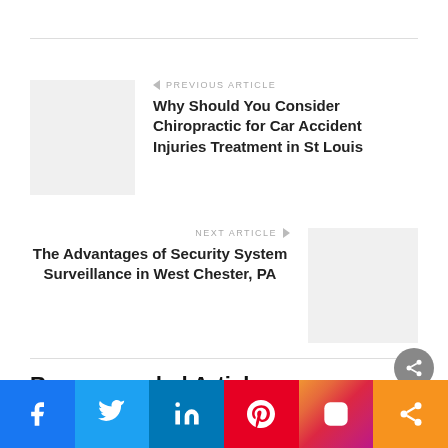← PREVIOUS ARTICLE
Why Should You Consider Chiropractic for Car Accident Injuries Treatment in St Louis
NEXT ARTICLE →
The Advantages of Security System Surveillance in West Chester, PA
Recommended Articles